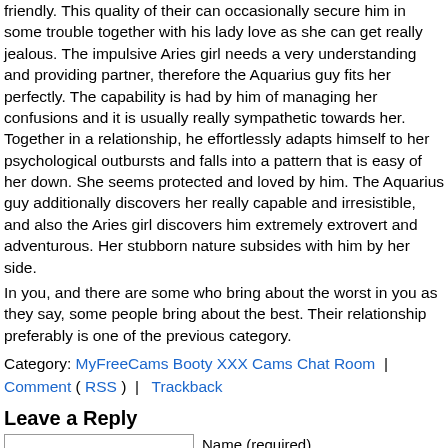friendly. This quality of their can occasionally secure him in some trouble together with his lady love as she can get really jealous. The impulsive Aries girl needs a very understanding and providing partner, therefore the Aquarius guy fits her perfectly. The capability is had by him of managing her confusions and it is usually really sympathetic towards her. Together in a relationship, he effortlessly adapts himself to her psychological outbursts and falls into a pattern that is easy of her down. She seems protected and loved by him. The Aquarius guy additionally discovers her really capable and irresistible, and also the Aries girl discovers him extremely extrovert and adventurous. Her stubborn nature subsides with him by her side.
In you, and there are some who bring about the worst in you as they say, some people bring about the best. Their relationship preferably is one of the previous category.
Category: MyFreeCams Booty XXX Cams Chat Room | Comment ( RSS ) | Trackback
Leave a Reply
Name (required)